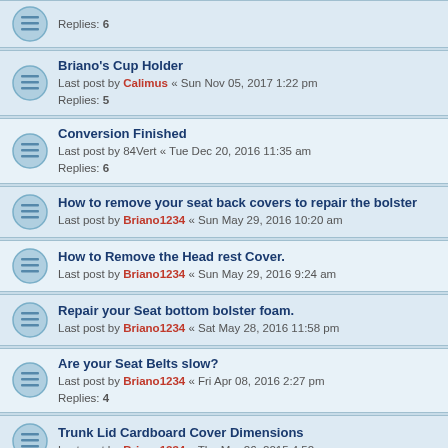Replies: 6
Briano's Cup Holder — Last post by Calimus « Sun Nov 05, 2017 1:22 pm — Replies: 5
Conversion Finished — Last post by 84Vert « Tue Dec 20, 2016 11:35 am — Replies: 6
How to remove your seat back covers to repair the bolster — Last post by Briano1234 « Sun May 29, 2016 10:20 am
How to Remove the Head rest Cover. — Last post by Briano1234 « Sun May 29, 2016 9:24 am
Repair your Seat bottom bolster foam. — Last post by Briano1234 « Sat May 28, 2016 11:58 pm
Are your Seat Belts slow? — Last post by Briano1234 « Fri Apr 08, 2016 2:27 pm — Replies: 4
Trunk Lid Cardboard Cover Dimensions — Last post by Briano1234 « Thu Mar 26, 2015 4:52 pm
Rear Seat Latch Pull replacement. — Last post by Briano1234 « Sat Mar 21, 2015 12:49 pm
A/C thermo switch pops out of ARM. — Last post by Briano1234 « Sat Mar 21, 2015 9:43 am
Repair broken heater control mount. — Last post by Briano1234 « Fri Apr 25, 2014 11:10 am